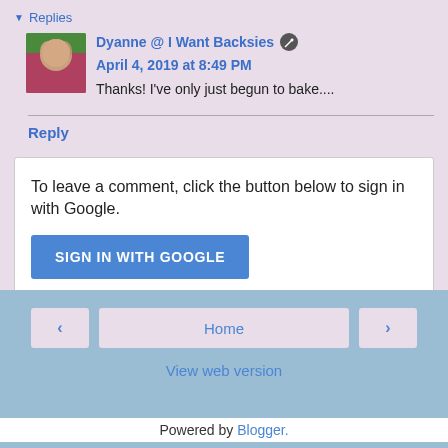▼ Replies
Dyanne @ I Want Backsies  April 4, 2019 at 8:49 PM
Thanks! I've only just begun to bake....
Reply
To leave a comment, click the button below to sign in with Google.
SIGN IN WITH GOOGLE
‹
Home
›
View web version
Powered by Blogger.